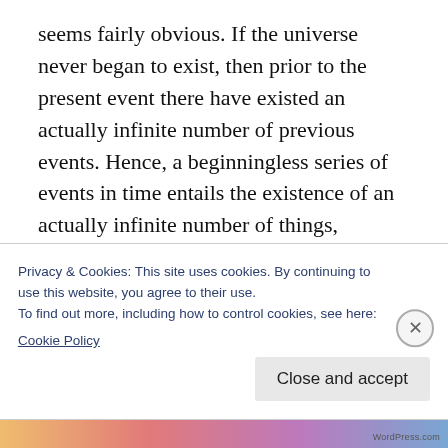seems fairly obvious. If the universe never began to exist, then prior to the present event there have existed an actually infinite number of previous events. Hence, a beginningless series of events in time entails the existence of an actually infinite number of things, namely, past events.
Given the truth of (2.11) and (2.12), the conclusion (2.13) logically follows. The series of past events must be finite and have a
Privacy & Cookies: This site uses cookies. By continuing to use this website, you agree to their use.
To find out more, including how to control cookies, see here:
Cookie Policy
Close and accept